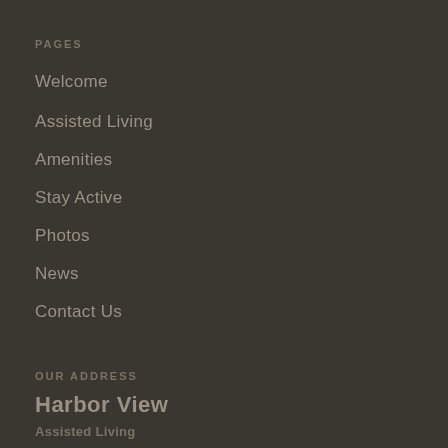PAGES
Welcome
Assisted Living
Amenities
Stay Active
Photos
News
Contact Us
OUR ADDRESS
Harbor View
Assisted Living